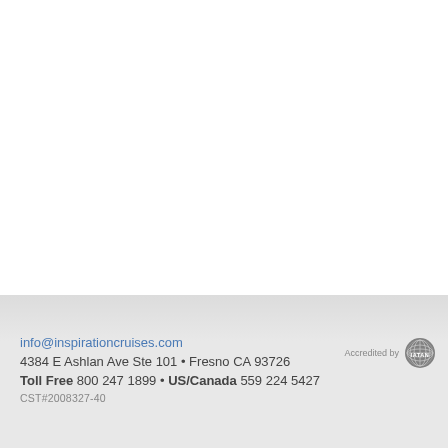info@inspirationcruises.com
4384 E Ashlan Ave Ste 101 • Fresno CA 93726
Toll Free 800 247 1899 • US/Canada 559 224 5427
CST#2008327-40